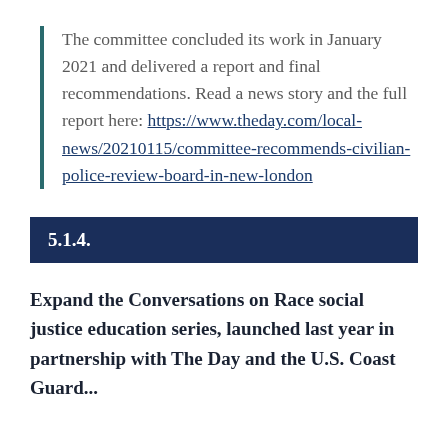The committee concluded its work in January 2021 and delivered a report and final recommendations. Read a news story and the full report here: https://www.theday.com/local-news/20210115/committee-recommends-civilian-police-review-board-in-new-london
5.1.4.
Expand the Conversations on Race social justice education series, launched last year in partnership with The Day and the U.S. Coast Guard...